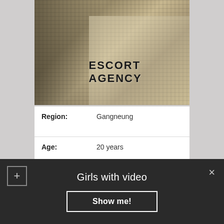[Figure (photo): Photo of person's bare feet on tile floor with patterned textile/clothing overlay, with 'ESCORT AGENCY' text watermark]
| Region: | Gangneung |
| Age: | 20 years |
| Height: | 166 |
| Weight: | 62 kg |
| Availability: | 10:00 – 21:00 |
| Body: | 87-55-91 |
| My Services: | Oral Without (at discretion), Fetish, Cum in mouth |
Girls with video
Show me!